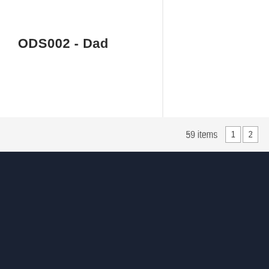ODS002 - Dad
59 items  1  2
CUSTOMER SERVICE
Phone:
Email  sales@stewartwood.co.nz
Home   Site Map   Back to top
2005 Stewart & Wood Ltd. All rights reserved.